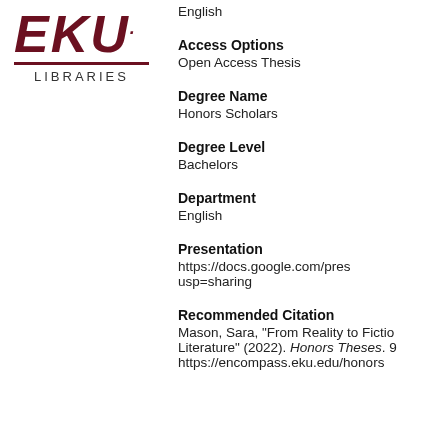[Figure (logo): EKU Libraries logo with italic bold EKU text in dark red/maroon with underline and LIBRARIES text below]
English
Access Options
Open Access Thesis
Degree Name
Honors Scholars
Degree Level
Bachelors
Department
English
Presentation
https://docs.google.com/pres usp=sharing
Recommended Citation
Mason, Sara, "From Reality to Fictio Literature" (2022). Honors Theses. 9 https://encompass.eku.edu/honors